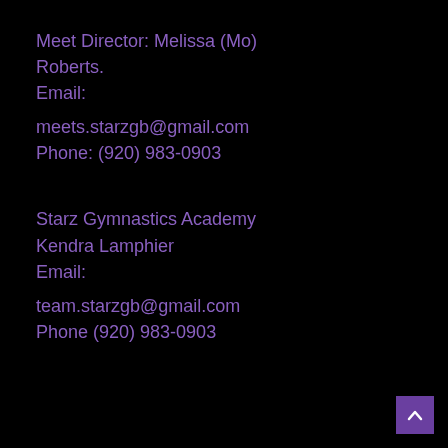Meet Director: Melissa (Mo) Roberts.
Email:
meets.starzgb@gmail.com
Phone: (920) 983-0903
Starz Gymnastics Academy
Kendra Lamphier
Email:
team.starzgb@gmail.com
Phone (920) 983-0903